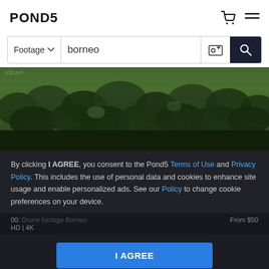POND5
[Figure (screenshot): Search bar with 'Footage' dropdown and 'borneo' typed in search field, with image search icon and dark search button]
[Figure (photo): Aerial view of dense green tropical forest canopy, Borneo rainforest]
By clicking I AGREE, you consent to the Pond5 Terms of Use and Privacy Policy. This includes the use of personal data and cookies to enhance site usage and enable personalized ads. See our Policy to change cookie preferences on your device.
00:... Drone footage Borneo... From $50 HD | 4K
I AGREE